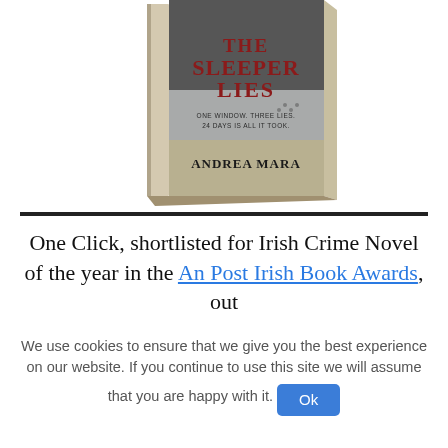[Figure (photo): Book cover of 'The Sleeper Lies' by Andrea Mara shown as a 3D book standing upright. The cover has dark wintry imagery with text 'THE SLEEPER LIES' in large red letters and 'ONE WINDOW. THREE LIES. 24 DAYS IS ALL IT TOOK.' and 'ANDREA MARA' at the bottom.]
One Click, shortlisted for Irish Crime Novel of the year in the An Post Irish Book Awards, out
We use cookies to ensure that we give you the best experience on our website. If you continue to use this site we will assume that you are happy with it. Ok